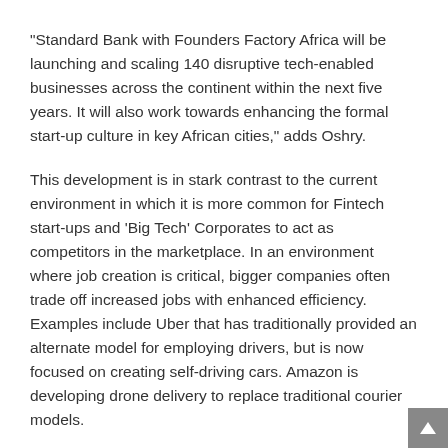“Standard Bank with Founders Factory Africa will be launching and scaling 140 disruptive tech-enabled businesses across the continent within the next five years. It will also work towards enhancing the formal start-up culture in key African cities,” adds Oshry.
This development is in stark contrast to the current environment in which it is more common for Fintech start-ups and ‘Big Tech’ Corporates to act as competitors in the marketplace. In an environment where job creation is critical, bigger companies often trade off increased jobs with enhanced efficiency. Examples include Uber that has traditionally provided an alternate model for employing drivers, but is now focused on creating self-driving cars. Amazon is developing drone delivery to replace traditional courier models.
“Founders Factory is but one example of a new way of working that aligns incentives between Corporates and start-ups. With a change in mindset and through innovative new business models, large Corporates can contribute substantially to growing the small businesses in our continent and changing our economic landscape,” Oshry said.